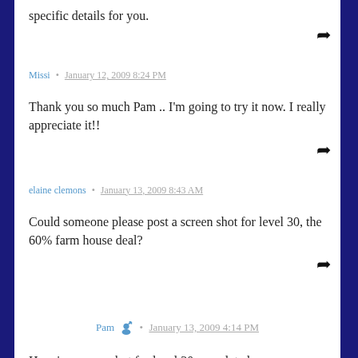specific details for you.
Missi • January 12, 2009 8:24 PM
Thank you so much Pam .. I'm going to try it now. I really appreciate it!!
elaine clemons • January 13, 2009 8:43 AM
Could someone please post a screen shot for level 30, the 60% farm house deal?
Pam • January 13, 2009 4:14 PM
Here is a screenshot for level 30 completed